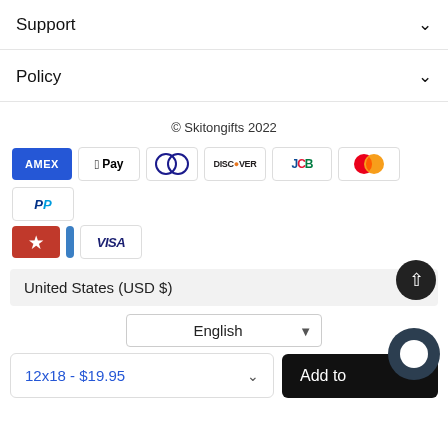Support
Policy
© Skitongifts 2022
[Figure (other): Payment method icons: AMEX, Apple Pay, Diners Club, Discover, JCB, Mastercard, PayPal, Shop Pay (star), Visa]
United States (USD $)
English
12x18 - $19.95
Add to